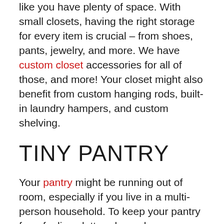With our help, you won't need a walk-in closet to feel like you have plenty of space. With small closets, having the right storage for every item is crucial – from shoes, pants, jewelry, and more. We have custom closet accessories for all of those, and more! Your closet might also benefit from custom hanging rods, built-in laundry hampers, and custom shelving.
TINY PANTRY
Your pantry might be running out of room, especially if you live in a multi-person household. To keep your pantry from feeling cluttered, good organization is important. We can help you do that with custom cabinets, spice racks, baskets, pull-out drawers, and adjustable shelves.